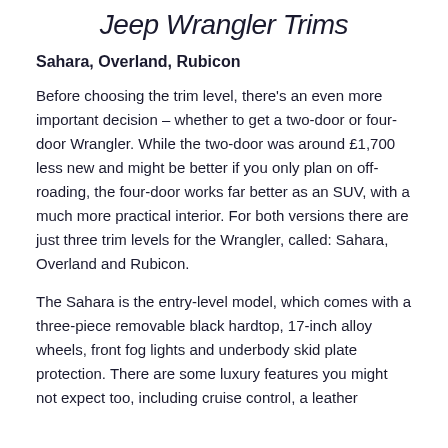Jeep Wrangler Trims
Sahara, Overland, Rubicon
Before choosing the trim level, there's an even more important decision – whether to get a two-door or four-door Wrangler. While the two-door was around £1,700 less new and might be better if you only plan on off-roading, the four-door works far better as an SUV, with a much more practical interior. For both versions there are just three trim levels for the Wrangler, called: Sahara, Overland and Rubicon.
The Sahara is the entry-level model, which comes with a three-piece removable black hardtop, 17-inch alloy wheels, front fog lights and underbody skid plate protection. There are some luxury features you might not expect too, including cruise control, a leather